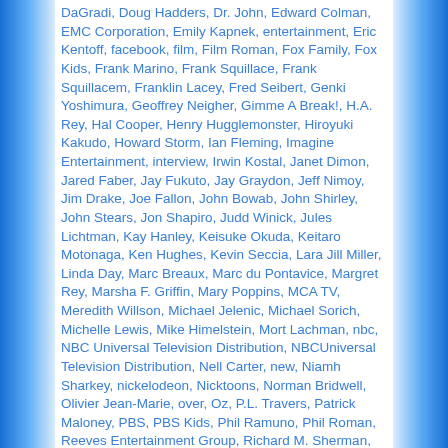DaGradi, Doug Hadders, Dr. John, Edward Colman, EMC Corporation, Emily Kapnek, entertainment, Eric Kentoff, facebook, film, Film Roman, Fox Family, Fox Kids, Frank Marino, Frank Squillace, Frank Squillacem, Franklin Lacey, Fred Seibert, Genki Yoshimura, Geoffrey Neigher, Gimme A Break!, H.A. Rey, Hal Cooper, Henry Hugglemonster, Hiroyuki Kakudo, Howard Storm, Ian Fleming, Imagine Entertainment, interview, Irwin Kostal, Janet Dimon, Jared Faber, Jay Fukuto, Jay Graydon, Jeff Nimoy, Jim Drake, Joe Fallon, John Bowab, John Shirley, John Stears, Jon Shapiro, Judd Winick, Jules Lichtman, Kay Hanley, Keisuke Okuda, Keitaro Motonaga, Ken Hughes, Kevin Seccia, Lara Jill Miller, Linda Day, Marc Breaux, Marc du Pontavice, Margret Rey, Marsha F. Griffin, Mary Poppins, MCA TV, Meredith Willson, Michael Jelenic, Michael Sorich, Michelle Lewis, Mike Himelstein, Mort Lachman, nbc, NBC Universal Television Distribution, NBCUniversal Television Distribution, Nell Carter, new, Niamh Sharkey, nickelodeon, Nicktoons, Norman Bridwell, Olivier Jean-Marie, over, Oz, P.L. Travers, Patrick Maloney, PBS, PBS Kids, Phil Ramuno, Phil Roman, Reeves Entertainment Group, Richard M. Sherman, Rino Romano, Roald Dahl, Robert B. Sherman, Robert Stevenson, Rod Parker, Ron Howard, Saban Brands, Saban Capital Group, Saban Entertainment, Satoru Nishizono, Scholastic Corporation, SciGirls, Scott, Scott Heming, Shareena Carlson, Shuki Levy, Soup2Nuts, Starz Media, Stewart Copeland, Studios USA, Susan Miller, Sy Rosen, Takagi Katsuhiro, Takanori